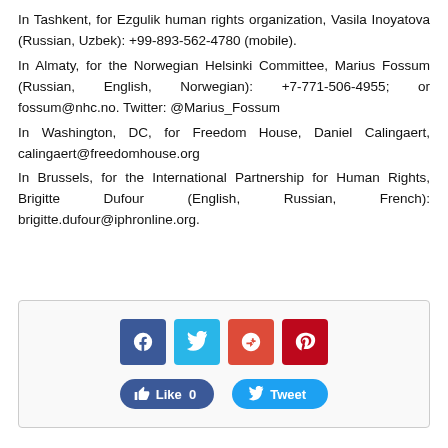In Tashkent, for Ezgulik human rights organization, Vasila Inoyatova (Russian, Uzbek): +99-893-562-4780 (mobile).
In Almaty, for the Norwegian Helsinki Committee, Marius Fossum (Russian, English, Norwegian): +7-771-506-4955; or fossum@nhc.no. Twitter: @Marius_Fossum
In Washington, DC, for Freedom House, Daniel Calingaert, calingaert@freedomhouse.org
In Brussels, for the International Partnership for Human Rights, Brigitte Dufour (English, Russian, French): brigitte.dufour@iphronline.org.
[Figure (infographic): Social media sharing widget with Facebook, Twitter, Google+, and Pinterest icon buttons, plus a Facebook Like button showing 0 likes and a Tweet button.]